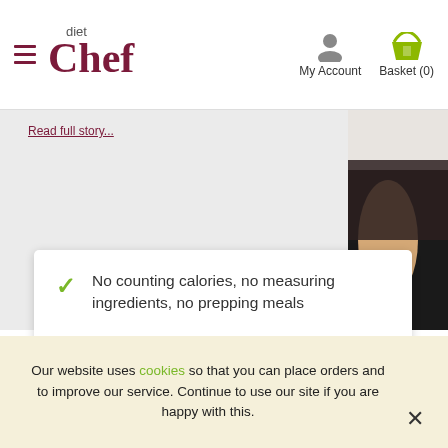Diet Chef — My Account | Basket (0)
[Figure (screenshot): Partial view of a woman in black clothing with a watch, standing against light background]
No counting calories, no measuring ingredients, no prepping meals
All calorie counting and portion control is done for you
Just heat and eat
Our website uses cookies so that you can place orders and to improve our service. Continue to use our site if you are happy with this.